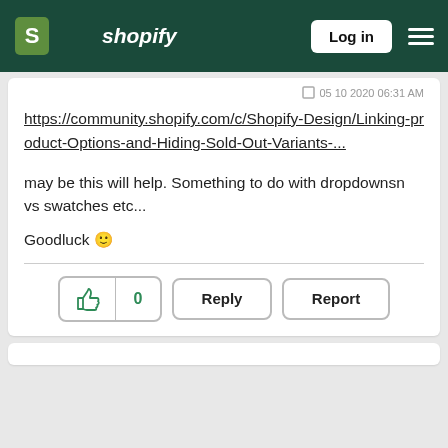Shopify — Log in
05 10 2020 06:31 AM
https://community.shopify.com/c/Shopify-Design/Linking-product-Options-and-Hiding-Sold-Out-Variants-...
may be this will help. Something to do with dropdownsn vs swatches etc...
Goodluck 🙂
👍 0  Reply  Report